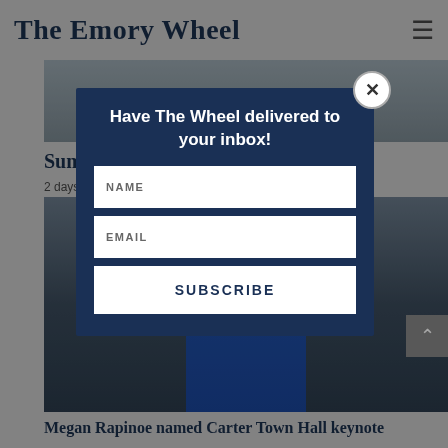The Emory Wheel
[Figure (screenshot): Background newspaper website page with article image strips and article text partially visible behind modal overlay]
Sum...
2 days ...
[Figure (photo): Soccer player wearing blue USMNT Nike jersey with US Soccer crest, stadium crowd in background]
Megan Rapinoe named Carter Town Hall keynote
[Figure (infographic): Modal popup: Have The Wheel delivered to your inbox! with NAME and EMAIL input fields and SUBSCRIBE button]
Have The Wheel delivered to your inbox!
NAME
EMAIL
SUBSCRIBE